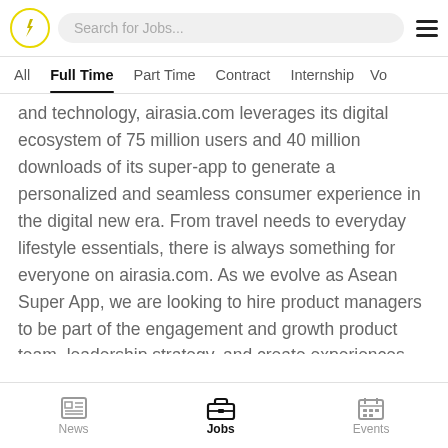Search for Jobs...
All | Full Time | Part Time | Contract | Internship | Vo...
and technology, airasia.com leverages its digital ecosystem of 75 million users and 40 million downloads of its super-app to generate a personalized and seamless consumer experience in the digital new era. From travel needs to everyday lifestyle essentials, there is always something for everyone on airasia.com. As we evolve as Asean Super App, we are looking to hire product managers to be part of the engagement and growth product team, leadership strategy, and create experiences that will impact the entire airasia.com platform.
News  Jobs  Events